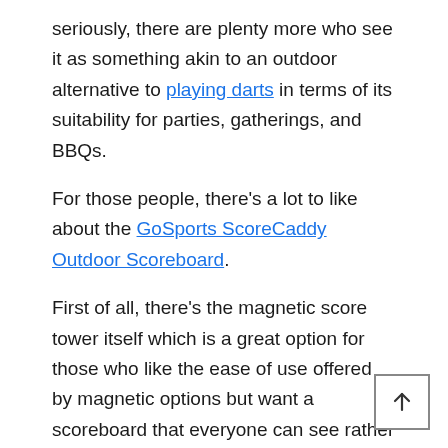seriously, there are plenty more who see it as something akin to an outdoor alternative to playing darts in terms of its suitability for parties, gatherings, and BBQs.
For those people, there's a lot to like about the GoSports ScoreCaddy Outdoor Scoreboard.
First of all, there's the magnetic score tower itself which is a great option for those who like the ease of use offered by magnetic options but want a scoreboard that everyone can see rather than just the team that happens to be closest to the cornhole board with the scoring system attached.